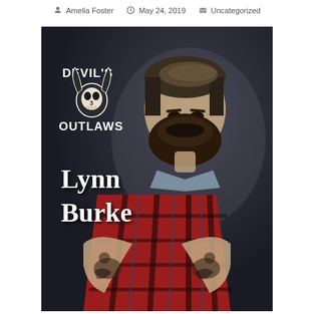Amelia Foster  May 24, 2019  Uncategorized
[Figure (photo): Book cover for 'Devil's Outlaws 3' by Lynn Burke. Features a muscular bearded man with tattoos wearing a red plaid shirt, arms crossed, with a moody dark background. The Devil's Outlaws logo with a skull and horns appears in the upper left, and the author name Lynn Burke is displayed in white text.]